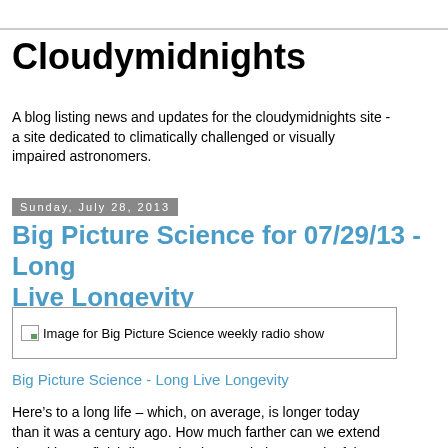Cloudymidnights
A blog listing news and updates for the cloudymidnights site - a site dedicated to climatically challenged or visually impaired astronomers.
Sunday, July 28, 2013
Big Picture Science for 07/29/13 - Long Live Longevity
[Figure (photo): Image for Big Picture Science weekly radio show]
Big Picture Science - Long Live Longevity
Here’s to a long life – which, on average, is longer today than it was a century ago. How much farther can we extend that ultimate finish line? Scientists are in hot pursuit of the secret to longer life.